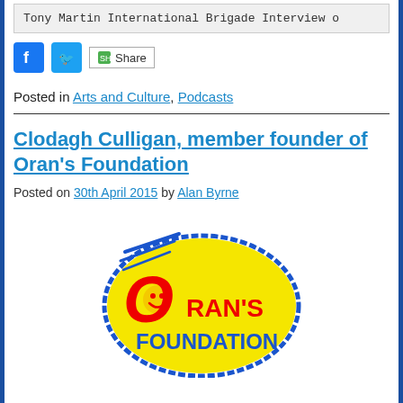Tony Martin International Brigade Interview o...
[Figure (screenshot): Social media share icons: Facebook (blue), Twitter (blue), and Share button]
Posted in Arts and Culture, Podcasts
Clodagh Culligan, member founder of Oran's Foundation
Posted on 30th April 2015 by Alan Byrne
[Figure (logo): Oran's Foundation logo: yellow oval with blue hand-drawn outline, red letter O with smiley face, text 'Oran's Foundation' in red and blue]